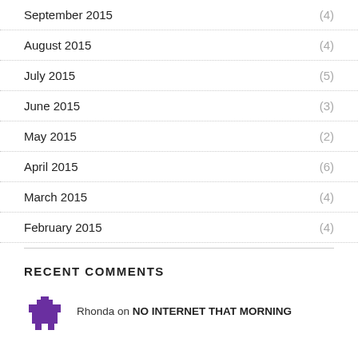September 2015 (4)
August 2015 (4)
July 2015 (5)
June 2015 (3)
May 2015 (2)
April 2015 (6)
March 2015 (4)
February 2015 (4)
RECENT COMMENTS
Rhonda on NO INTERNET THAT MORNING